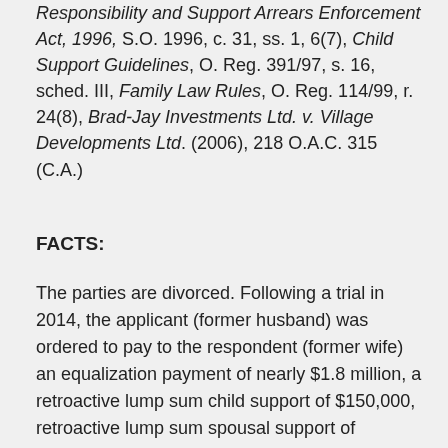Responsibility and Support Arrears Enforcement Act, 1996, S.O. 1996, c. 31, ss. 1, 6(7), Child Support Guidelines, O. Reg. 391/97, s. 16, sched. III, Family Law Rules, O. Reg. 114/99, r. 24(8), Brad-Jay Investments Ltd. v. Village Developments Ltd. (2006), 218 O.A.C. 315 (C.A.)
FACTS:
The parties are divorced. Following a trial in 2014, the applicant (former husband) was ordered to pay to the respondent (former wife) an equalization payment of nearly $1.8 million, a retroactive lump sum child support of $150,000, retroactive lump sum spousal support of $136,760 and periodic spousal support of $7,500 per month until the equalization and retroactive support was fully paid. The applicant was also ordered to pay post-judgment interest calculated at three percent as well as costs in favour of the respondent. The applicant failed to make the payments required by the judgment.